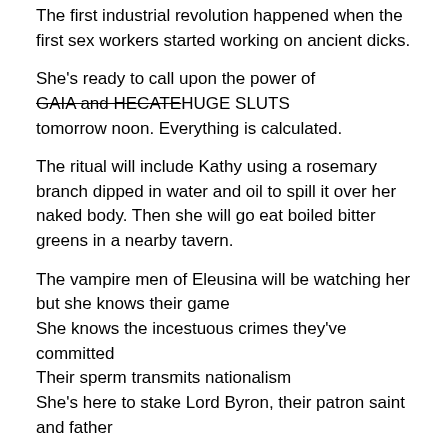The first industrial revolution happened when the first sex workers started working on ancient dicks.
She's ready to call upon the power of GAIA and HECATEHUGE SLUTS tomorrow noon. Everything is calculated.
The ritual will include Kathy using a rosemary branch dipped in water and oil to spill it over her naked body. Then she will go eat boiled bitter greens in a nearby tavern.
The vampire men of Eleusina will be watching her but she knows their game
She knows the incestuous crimes they've committed
Their sperm transmits nationalism
She's here to stake Lord Byron, their patron saint and father